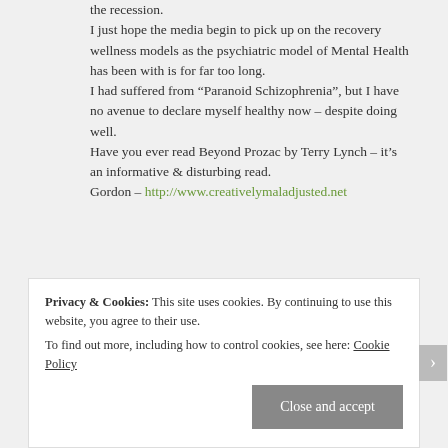the recession.
I just hope the media begin to pick up on the recovery wellness models as the psychiatric model of Mental Health has been with is for far too long.
I had suffered from “Paranoid Schizophrenia”, but I have no avenue to declare myself healthy now – despite doing well.
Have you ever read Beyond Prozac by Terry Lynch – it’s an informative & disturbing read.
Gordon – http://www.creativelymaladjusted.net
Log in to Reply
Privacy & Cookies: This site uses cookies. By continuing to use this website, you agree to their use.
To find out more, including how to control cookies, see here: Cookie Policy
Close and accept